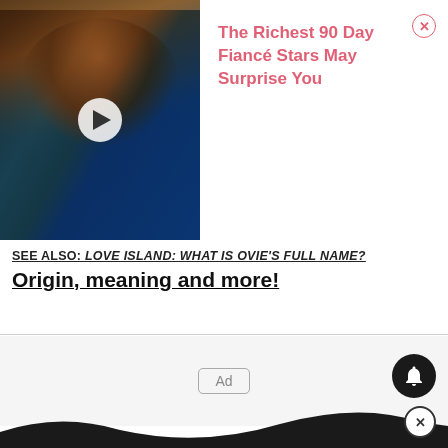[Figure (screenshot): Video thumbnail showing a man in a blue shirt, with a white play button circle in the center, on a dark background.]
The Richest 90 Day Fiancé Stars May Surprise You
SEE ALSO: Love Island: What is Ovie's full name? Origin, meaning and more!
[Figure (other): Ad placeholder box with 'Ad' label in the center of a light gray background area.]
[Figure (other): Bell notification icon button (dark circle) and a close (X) circle button at bottom right, with a wavy line decoration at the bottom of the page.]